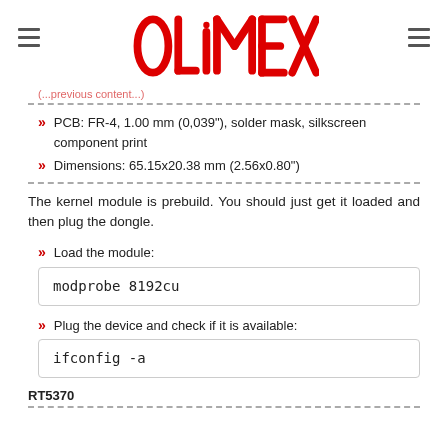[Figure (logo): Olimex logo in red with circuit board styling, centered at top of page]
PCB: FR-4, 1.00 mm (0,039"), solder mask, silkscreen component print
Dimensions: 65.15x20.38 mm (2.56x0.80")
The kernel module is prebuild. You should just get it loaded and then plug the dongle.
Load the module:
modprobe 8192cu
Plug the device and check if it is available:
ifconfig -a
RT5370